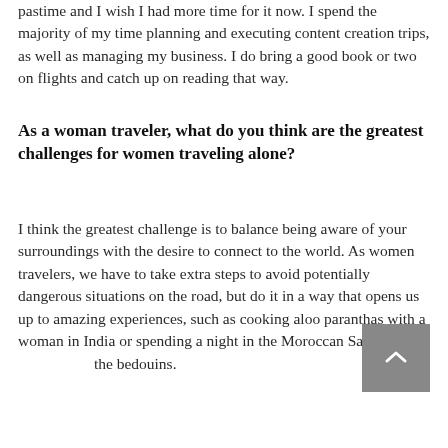pastime and I wish I had more time for it now. I spend the majority of my time planning and executing content creation trips, as well as managing my business. I do bring a good book or two on flights and catch up on reading that way.
As a woman traveler, what do you think are the greatest challenges for women traveling alone?
I think the greatest challenge is to balance being aware of your surroundings with the desire to connect to the world. As women travelers, we have to take extra steps to avoid potentially dangerous situations on the road, but do it in a way that opens us up to amazing experiences, such as cooking aloo paranthas with a woman in India or spending a night in the Moroccan Sahara with the bedouins.